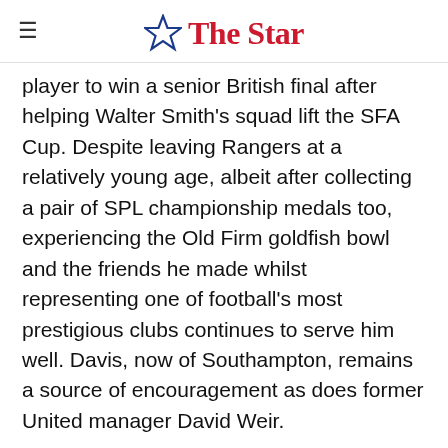The Star
player to win a senior British final after helping Walter Smith's squad lift the SFA Cup. Despite leaving Rangers at a relatively young age, albeit after collecting a pair of SPL championship medals too, experiencing the Old Firm goldfish bowl and the friends he made whilst representing one of football's most prestigious clubs continues to serve him well. Davis, now of Southampton, remains a source of encouragement as does former United manager David Weir.
"I know Dave well and I still speak to him every